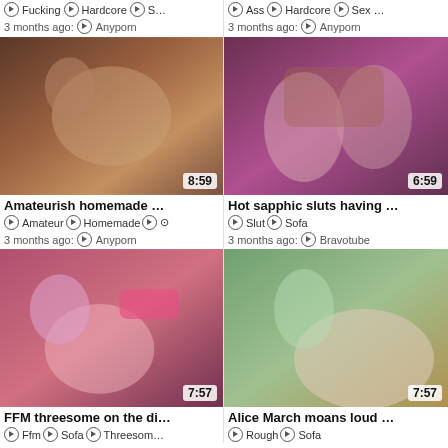⊙ Fucking ⊙ Hardcore ⊙ S…
⊙ Ass ⊙ Hardcore ⊙ Sex …
3 months ago ⊙ Anyporn
3 months ago ⊙ Anyporn
[Figure (photo): Video thumbnail 8:59]
[Figure (photo): Video thumbnail 6:59]
Amateurish homemade …
Hot sapphic sluts having …
⊙ Amateur ⊙ Homemade ⊙
⊙ Slut ⊙ Sofa
3 months ago ⊙ Anyporn
3 months ago ⊙ Bravotube
[Figure (photo): Video thumbnail 7:57]
[Figure (photo): Video thumbnail 7:57]
FFM threesome on the di…
Alice March moans loud …
⊙ Ffm ⊙ Sofa ⊙ Threesom…
⊙ Rough ⊙ Sofa